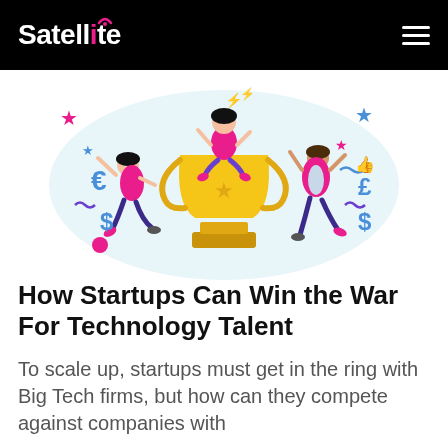Satellite
[Figure (illustration): Celebration illustration showing three people dancing around a large golden trophy. A woman sits on top of the trophy with arms raised. Currency symbols (€, £, $) and stars float around them on a light blue background.]
How Startups Can Win the War For Technology Talent
To scale up, startups must get in the ring with Big Tech firms, but how can they compete against companies with